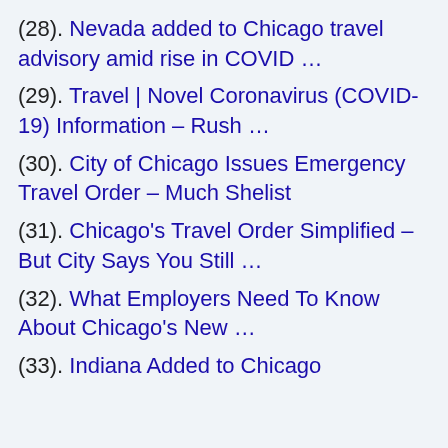(28). Nevada added to Chicago travel advisory amid rise in COVID …
(29). Travel | Novel Coronavirus (COVID-19) Information – Rush …
(30). City of Chicago Issues Emergency Travel Order – Much Shelist
(31). Chicago's Travel Order Simplified – But City Says You Still …
(32). What Employers Need To Know About Chicago's New …
(33). Indiana Added to Chicago